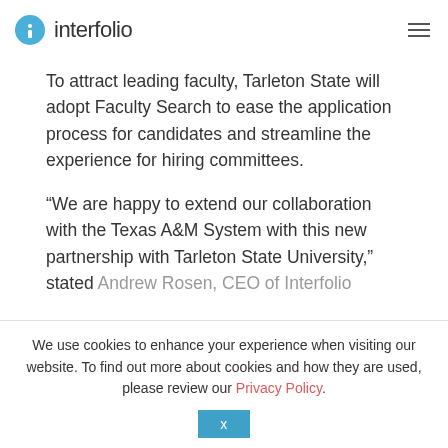interfolio
To attract leading faculty, Tarleton State will adopt Faculty Search to ease the application process for candidates and streamline the experience for hiring committees.
“We are happy to extend our collaboration with the Texas A&M System with this new partnership with Tarleton State University,” stated Andrew Rosen, CEO of Interfolio
We use cookies to enhance your experience when visiting our website. To find out more about cookies and how they are used, please review our Privacy Policy.